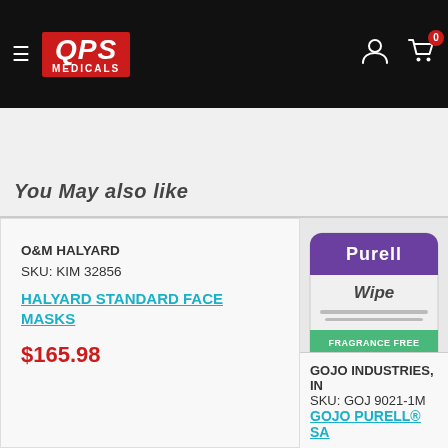[Figure (screenshot): QPS Medicals website header with black background, red QPS Medicals logo, hamburger menu, user account icon, and shopping cart icon with badge showing 0]
[Figure (screenshot): Search bar with white input field showing 'Search...' placeholder and red search button with magnifying glass icon]
You May also like
O&M HALYARD
SKU: KIM 32856
HALYARD STANDARD FACE MASKS
$165.98
[Figure (photo): Purell Wipe individual packet product image]
GOJO INDUSTRIES, IN
SKU: GOJ 9021-1M
GOJO PURELL® SA